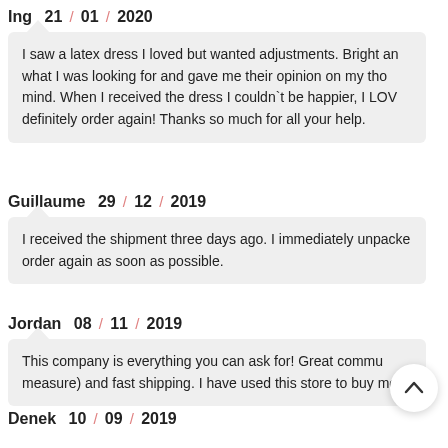Ing   21 / 01 / 2020
I saw a latex dress I loved but wanted adjustments. Bright an what I was looking for and gave me their opinion on my tho mind. When I received the dress I couldn`t be happier, I LOV definitely order again! Thanks so much for all your help.
Guillaume   29 / 12 / 2019
I received the shipment three days ago. I immediately unpacke order again as soon as possible.
Jordan   08 / 11 / 2019
This company is everything you can ask for! Great commu measure) and fast shipping. I have used this store to buy most
Denek   10 / 09 / 2019
I was sceptical to buy latex from a company, that mainly se